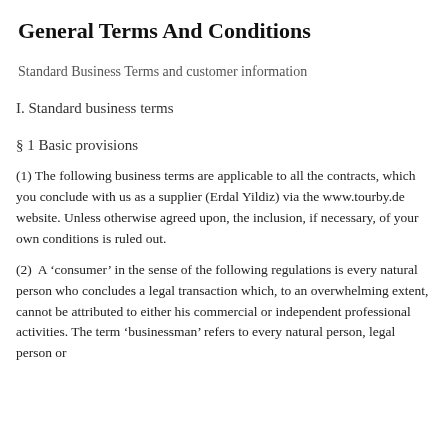General Terms And Conditions
Standard Business Terms and customer information
I. Standard business terms
§ 1 Basic provisions
(1) The following business terms are applicable to all the contracts, which you conclude with us as a supplier (Erdal Yildiz) via the www.tourby.de website. Unless otherwise agreed upon, the inclusion, if necessary, of your own conditions is ruled out.
(2)  A ‘consumer’ in the sense of the following regulations is every natural person who concludes a legal transaction which, to an overwhelming extent, cannot be attributed to either his commercial or independent professional activities. The term ‘businessman’ refers to every natural person, legal person or